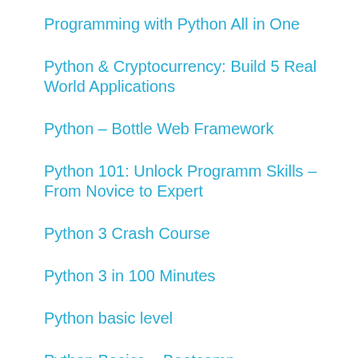Programming with Python All in One
Python & Cryptocurrency: Build 5 Real World Applications
Python – Bottle Web Framework
Python 101: Unlock Programm Skills – From Novice to Expert
Python 3 Crash Course
Python 3 in 100 Minutes
Python basic level
Python Basics – Bootcamp
Python Core and Advanced